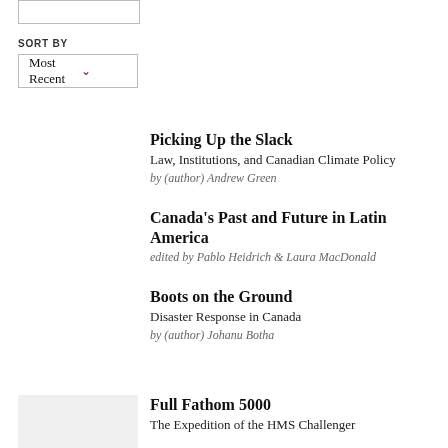SORT BY
Most Recent
Picking Up the Slack
Law, Institutions, and Canadian Climate Policy
by (author) Andrew Green
Canada's Past and Future in Latin America
edited by Pablo Heidrich & Laura MacDonald
Boots on the Ground
Disaster Response in Canada
by (author) Johanu Botha
Full Fathom 5000
The Expedition of the HMS Challenger